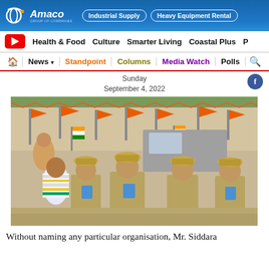[Figure (logo): Amaco Group of Companies banner ad with Industrial Supply and Heavy Equipment Rental pill buttons on blue gradient background]
Health & Food   Culture   Smarter Living   Coastal Plus   P
News ▾   Standpoint   Columns   Media Watch   Polls   🔍
Sunday
September 4, 2022
[Figure (photo): Police officers in khaki uniforms and hats standing among a crowd with saffron/orange flags and Indian tricolor flags in the background at an outdoor political rally or procession]
Without naming any particular organisation, Mr. Siddara